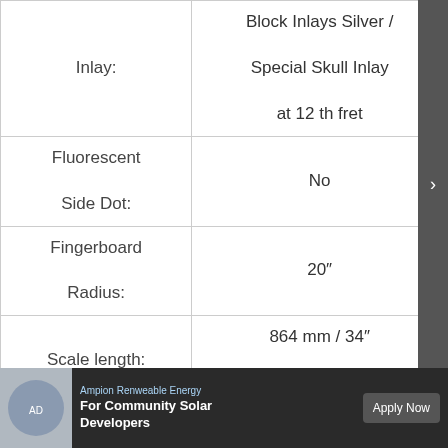| Property | Value |
| --- | --- |
| Inlay: | Block Inlays Silver / Special Skull Inlay at 12 th fret |
| Fluorescent Side Dot: | No |
| Fingerboard Radius: | 20″ |
| Scale length: | 864 mm / 34″ (Longscale) |
| Width Nut: | 38,5 mm / 1.5″ |